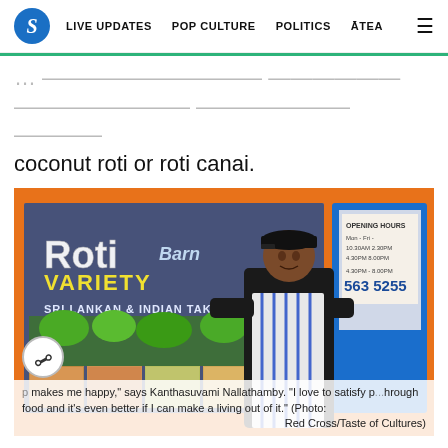S | LIVE UPDATES  POP CULTURE  POLITICS  ĀTEA  ☰
...coconut sambal with coconut roti or roti canai.
[Figure (photo): A man wearing a black shirt, cap, and blue-and-white striped apron stands in front of the Roti Barn Variety Sri Lankan & Indian Takeaways storefront with orange walls and a large window displaying food images and opening hours (563 5255).]
makes me happy," says Kanthasuvami Nallathamby. "I love to satisfy p...hrough food and it's even better if I can make a living out of it." (Photo: Red Cross/Taste of Cultures)